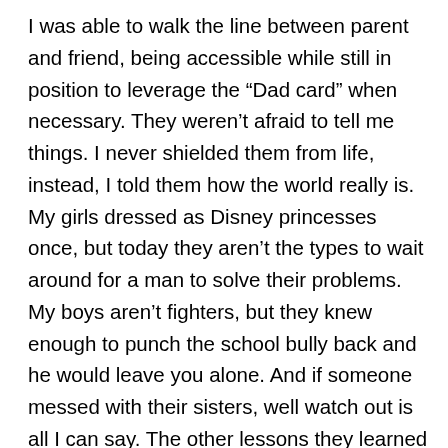I was able to walk the line between parent and friend, being accessible while still in position to leverage the “Dad card” when necessary. They weren’t afraid to tell me things. I never shielded them from life, instead, I told them how the world really is. My girls dressed as Disney princesses once, but today they aren’t the types to wait around for a man to solve their problems. My boys aren’t fighters, but they knew enough to punch the school bully back and he would leave you alone. And if someone messed with their sisters, well watch out is all I can say. The other lessons they learned from me were unfortunate. They learned the value of saving money by seeing their family home auctioned off. They learned the value of hard work when I lost 6 months of work to illness and the older 2 had to get jobs in High School. They